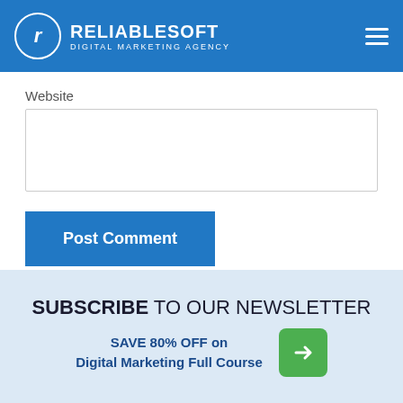RELIABLESOFT DIGITAL MARKETING AGENCY
Website
Post Comment
SUBSCRIBE TO OUR NEWSLETTER
SAVE 80% OFF on Digital Marketing Full Course